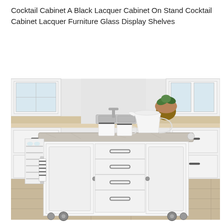Cocktail Cabinet A Black Lacquer Cabinet On Stand Cocktail Cabinet Lacquer Furniture Glass Display Shelves
[Figure (photo): A white kitchen island cart with granite top, four drawers with brushed nickel handles, two cabinet doors, a towel bar with striped towels, a wine rack on the side, two white mugs and a white pitcher on top, set in a white kitchen with tile floor.]